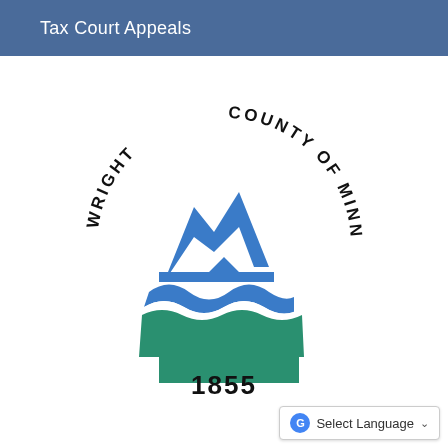Tax Court Appeals
[Figure (logo): Wright County of Minnesota official seal/logo. A circular seal with the text 'WRIGHT COUNTY OF MINNESOTA' arced around the top and 'WRIGHT' along the left side. The center features blue mountain peaks above blue and white wave shapes, and green wave/land shapes at the bottom. The year '1855' appears at the bottom of the seal in large bold text.]